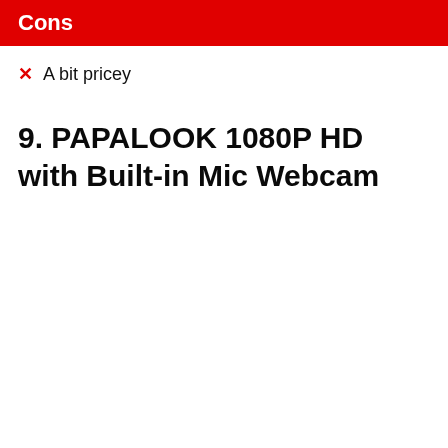Cons
A bit pricey
9. PAPALOOK 1080P HD with Built-in Mic Webcam